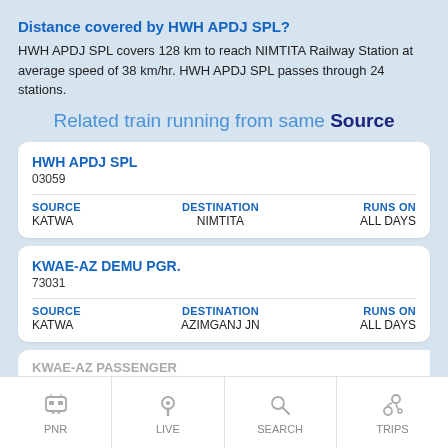Distance covered by HWH APDJ SPL?
HWH APDJ SPL covers 128 km to reach NIMTITA Railway Station at average speed of 38 km/hr. HWH APDJ SPL passes through 24 stations.
Related train running from same Source
| Train | Number | SOURCE | DESTINATION | RUNS ON |
| --- | --- | --- | --- | --- |
| HWH APDJ SPL | 03059 | KATWA | NIMTITA | ALL DAYS |
| Train | Number | SOURCE | DESTINATION | RUNS ON |
| --- | --- | --- | --- | --- |
| KWAE-AZ DEMU PGR. | 73031 | KATWA | AZIMGANJ JN | ALL DAYS |
PNR   LIVE   SEARCH   TRIPS